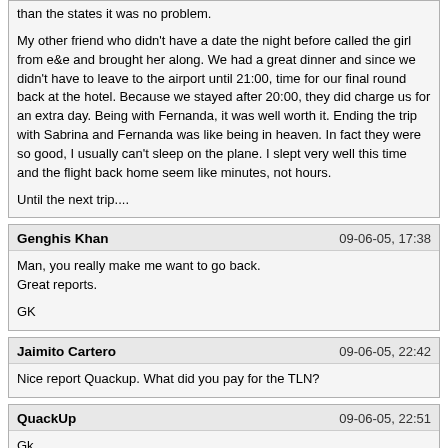than the states it was no problem.

My other friend who didn't have a date the night before called the girl from e&e and brought her along. We had a great dinner and since we didn't have to leave to the airport until 21:00, time for our final round back at the hotel. Because we stayed after 20:00, they did charge us for an extra day. Being with Fernanda, it was well worth it. Ending the trip with Sabrina and Fernanda was like being in heaven. In fact they were so good, I usually can't sleep on the plane. I slept very well this time and the flight back home seem like minutes, not hours.

Until the next trip....
Genghis Khan
Man, you really make me want to go back.
Great reports.

GK
Jaimito Cartero
Nice report Quackup. What did you pay for the TLN?
QuackUp
Gk,

Thanks, it was your posting that got me interested in visiting w.e.. In fact, if I had to choose between Cafe Photo and W.E., W.E. wins hands down.

Jc,

I paid her the same amount for take out r$800. I know its high but I was only in town for a short period. Besides, the date started around 20:00 Friday night